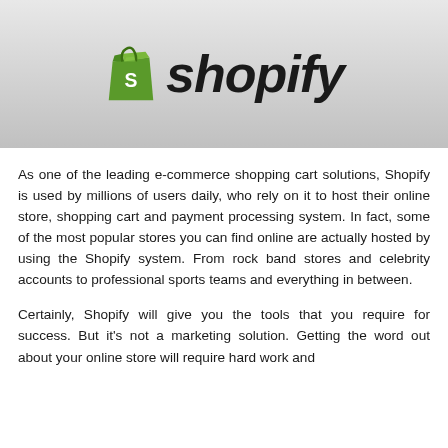[Figure (logo): Shopify logo: green shopping bag with white S, followed by italic bold 'shopify' text in black, on a grey gradient background]
As one of the leading e-commerce shopping cart solutions, Shopify is used by millions of users daily, who rely on it to host their online store, shopping cart and payment processing system. In fact, some of the most popular stores you can find online are actually hosted by using the Shopify system. From rock band stores and celebrity accounts to professional sports teams and everything in between.
Certainly, Shopify will give you the tools that you require for success. But it's not a marketing solution. Getting the word out about your online store will require hard work and